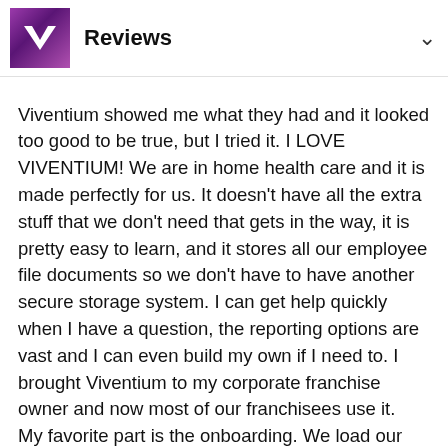Reviews
Viventium showed me what they had and it looked too good to be true, but I tried it. I LOVE VIVENTIUM! We are in home health care and it is made perfectly for us. It doesn't have all the extra stuff that we don't need that gets in the way, it is pretty easy to learn, and it stores all our employee file documents so we don't have to have another secure storage system. I can get help quickly when I have a question, the reporting options are vast and I can even build my own if I need to. I brought Viventium to my corporate franchise owner and now most of our franchisees use it.
My favorite part is the onboarding. We load our personal onboarding docs in their system, tell it where we need signatures and it does the rest! When I hire someone, I add name, email, and payrate to Viventium and the system takes care of ALL their paperwork for me! It even stores it automatically as they complete it. I only have to touch it...